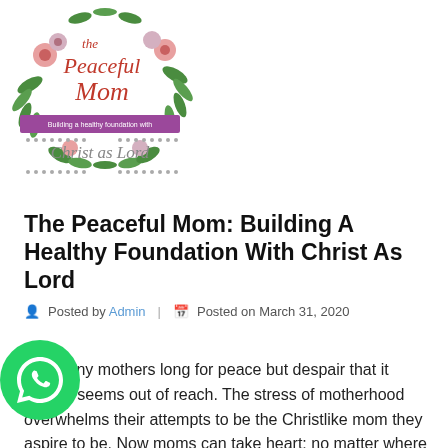[Figure (logo): The Peaceful Mom logo — circular floral wreath with script text 'The Peaceful Mom' and subtitle 'Building a healthy foundation with Christ as Lord']
The Peaceful Mom: Building A Healthy Foundation With Christ As Lord
Posted by Admin  |  Posted on March 31, 2020
Too many mothers long for peace but despair that it always seems out of reach. The stress of motherhood overwhelms their attempts to be the Christlike mom they aspire to be. Now moms can take heart: no matter where they are on their parenting journey, every mom can experience the power of Christ in a personal way that will radically change